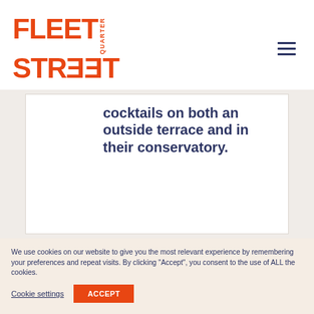[Figure (logo): Fleet Street Quarter logo in orange/red with stylized text]
cocktails on both an outside terrace and in their conservatory.
We use cookies on our website to give you the most relevant experience by remembering your preferences and repeat visits. By clicking "Accept", you consent to the use of ALL the cookies.
Cookie settings
ACCEPT